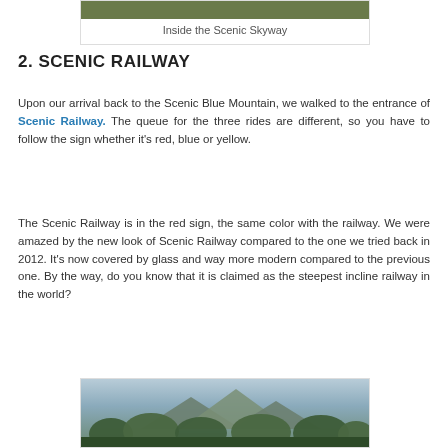Inside the Scenic Skyway
2. SCENIC RAILWAY
Upon our arrival back to the Scenic Blue Mountain, we walked to the entrance of Scenic Railway. The queue for the three rides are different, so you have to follow the sign whether it's red, blue or yellow.
The Scenic Railway is in the red sign, the same color with the railway. We were amazed by the new look of Scenic Railway compared to the one we tried back in 2012. It's now covered by glass and way more modern compared to the previous one. By the way, do you know that it is claimed as the steepest incline railway in the world?
[Figure (photo): Scenic landscape photo with mountains and trees in the background]